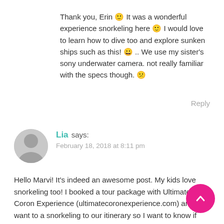Thank you, Erin 🙂 It was a wonderful experience snorkeling here 🙂 I would love to learn how to dive too and explore sunken ships such as this! 😀 .. We use my sister's sony underwater camera. not really familiar with the specs though. 😕
Reply
Lia says:
February 18, 2018 at 8:11 pm
Hello Marvi! It's indeed an awesome post. My kids love snorkeling too! I booked a tour package with Ultimate Coron Experience (ultimatecoronexperience.com) and I want to a snorkeling to our itinerary so I want to know if you think Coron, Palawan is a good place for kids to